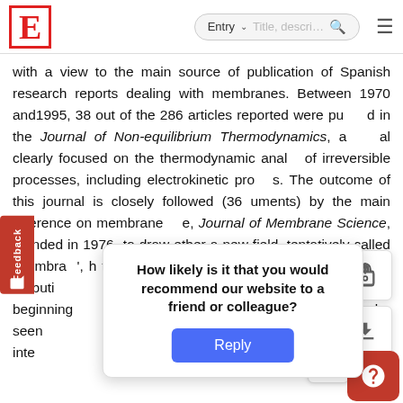E [logo] | Entry ∨ Title, descri… 🔍 ≡
with a view to the main source of publication of Spanish research reports dealing with membranes. Between 1970 and1995, 38 out of the 286 articles reported were published in the Journal of Non-equilibrium Thermodynamics, a journal clearly focused on the thermodynamic analysis of irreversible processes, including electrokinetic processes. The outcome of this journal is closely followed (36 documents) by the main reference on membrane science, Journal of Membrane Science, founded in 1976 to draw together a new field, tentatively called 'membranology', which turned to 'membrane technology'', and as a contribution to the very beginning of membrane science in be seen years in the main interest years is